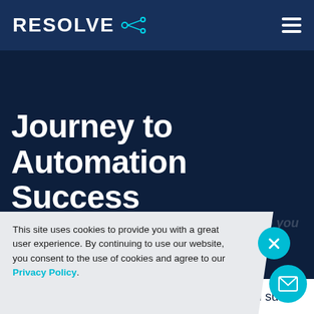RESOLVE
Journey to Automation Success
This site uses cookies to provide you with a great user experience. By continuing to use our website, you consent to the use of cookies and agree to our Privacy Policy.
next milestone on your journey to automation success.